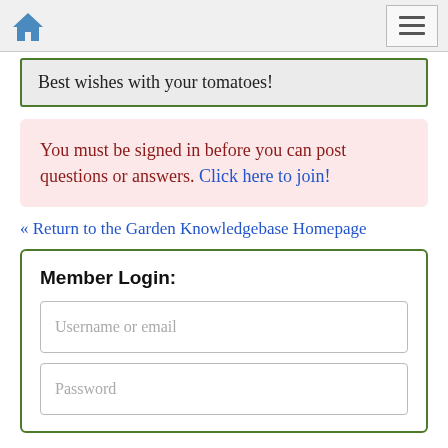Home navigation bar with home icon and hamburger menu
Best wishes with your tomatoes!
You must be signed in before you can post questions or answers. Click here to join!
« Return to the Garden Knowledgebase Homepage
Member Login:
Username or email
Password